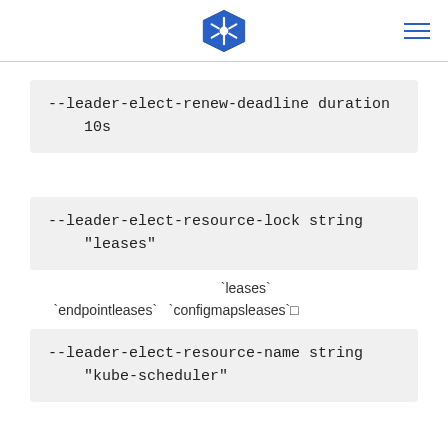Kubernetes logo and navigation menu
--leader-elect-renew-deadline duration
    10s
--leader-elect-resource-lock string
    "leases"
`leases` `endpointleases` `configmapsleases`□
--leader-elect-resource-name string
    "kube-scheduler"